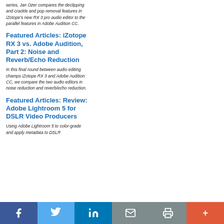series, Jan Ozer compares the declipping and crackle and pop-removal features in iZotope's new RX 3 pro audio editor to the parallel features in Adobe Audition CC.
Featured Articles: iZotope RX 3 vs. Adobe Audition, Part 2: Noise and Reverb/Echo Reduction
In this final round between audio editing champs iZotope RX 3 and Adobe Audition CC, we compare the two audio editors in noise reduction and reverb/echo reduction.
Featured Articles: Review: Adobe Lightroom 5 for DSLR Video Producers
Using Adobe Lightroom 5 to color-grade and apply metadata to DSLR
f  Twitter  in  Email  Print  +